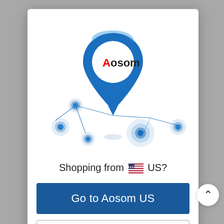[Figure (illustration): Aosom logo on a blue map pin/location marker, with a network of blue dots and lines representing global locations below it]
Shopping from 🇺🇸 US?
Go to Aosom US
Continue on Aosom IE